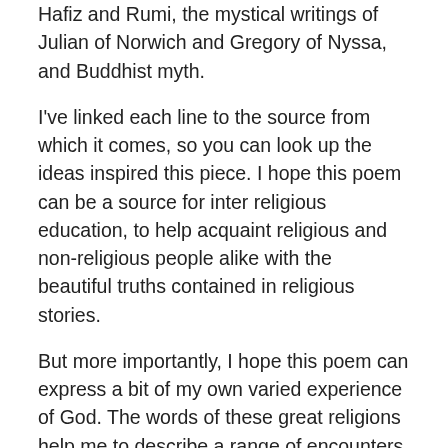Hafiz and Rumi, the mystical writings of Julian of Norwich and Gregory of Nyssa, and Buddhist myth.
I've linked each line to the source from which it comes, so you can look up the ideas inspired this piece. I hope this poem can be a source for inter religious education, to help acquaint religious and non-religious people alike with the beautiful truths contained in religious stories.
But more importantly, I hope this poem can express a bit of my own varied experience of God. The words of these great religions help me to describe a range of encounters and emotions: first, wonder and awe; then, confusion and mystery; abandonment and anxiety; pain and relief; excitement and giddiness; peace and communion. I'm learning that of these states of being–all of these stages of joy, sorrow, boredom, and everything in between–are locations of encounter with God.